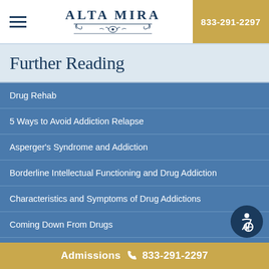ALTA MIRA | 833-291-2297
Further Reading
Drug Rehab
5 Ways to Avoid Addiction Relapse
Asperger's Syndrome and Addiction
Borderline Intellectual Functioning and Drug Addiction
Characteristics and Symptoms of Drug Addictions
Coming Down From Drugs
Dealing With Overdose
Admissions 833-291-2297